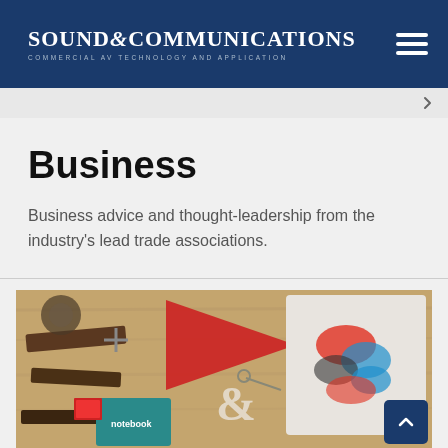SOUND & COMMUNICATIONS — COMMERCIAL AV TECHNOLOGY AND APPLICATION
Business
Business advice and thought-leadership from the industry's lead trade associations.
[Figure (photo): Flat lay photo of various design and craft items on a wooden surface, including tools, stationery, a red pennant, a teal notebook, decorative ampersand letterforms, keys, and a colorful printed t-shirt.]